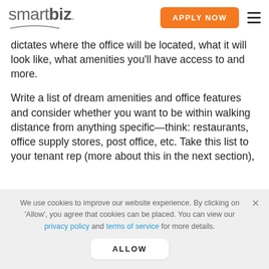smartbiz. APPLY NOW
dictates where the office will be located, what it will look like, what amenities you'll have access to and more.
Write a list of dream amenities and office features and consider whether you want to be within walking distance from anything specific—think: restaurants, office supply stores, post office, etc. Take this list to your tenant rep (more about this in the next section),
We use cookies to improve our website experience. By clicking on 'Allow', you agree that cookies can be placed. You can view our privacy policy and terms of service for more details.
ALLOW